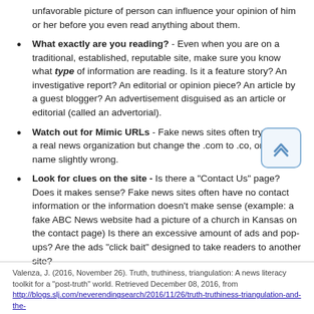unfavorable picture of person can influence your opinion of him or her before you even read anything about them.
What exactly are you reading? - Even when you are on a traditional, established, reputable site, make sure you know what type of information are reading. Is it a feature story? An investigative report? An editorial or opinion piece? An article by a guest blogger? An advertisement disguised as an article or editorial (called an advertorial).
Watch out for Mimic URLs - Fake news sites often try to mimic a real news organization but change the .com to .co, or get the name slightly wrong.
Look for clues on the site - Is there a "Contact Us" page? Does it makes sense? Fake news sites often have no contact information or the information doesn't make sense (example: a fake ABC News website had a picture of a church in Kansas on the contact page) Is there an excessive amount of ads and pop-ups? Are the ads "click bait" designed to take readers to another site?
Valenza, J. (2016, November 26). Truth, truthiness, triangulation: A news literacy toolkit for a "post-truth" world. Retrieved December 08, 2016, from http://blogs.slj.com/neverendingsearch/2016/11/26/truth-truthiness-triangulation-and-the-